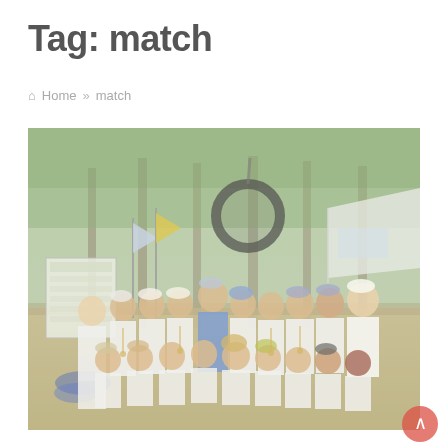Tag: match
🏠 Home » match
[Figure (photo): Group photo of a youth cricket team with coaches, posing outdoors on a cricket ground surrounded by trees. Players wear white cricket uniforms with medals, and a coach in blue stands in the center back row. Flags and a marquee tent are visible in the background.]